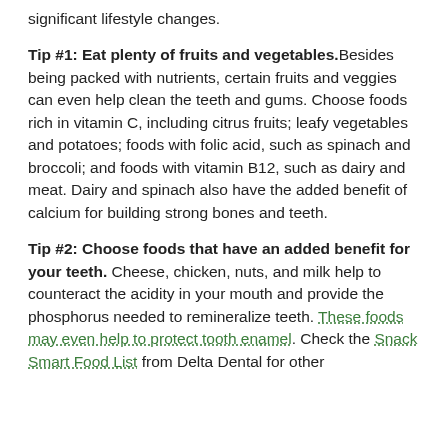significant lifestyle changes.
Tip #1: Eat plenty of fruits and vegetables. Besides being packed with nutrients, certain fruits and veggies can even help clean the teeth and gums. Choose foods rich in vitamin C, including citrus fruits; leafy vegetables and potatoes; foods with folic acid, such as spinach and broccoli; and foods with vitamin B12, such as dairy and meat. Dairy and spinach also have the added benefit of calcium for building strong bones and teeth.
Tip #2: Choose foods that have an added benefit for your teeth. Cheese, chicken, nuts, and milk help to counteract the acidity in your mouth and provide the phosphorus needed to remineralize teeth. These foods may even help to protect tooth enamel. Check the Snack Smart Food List from Delta Dental for other